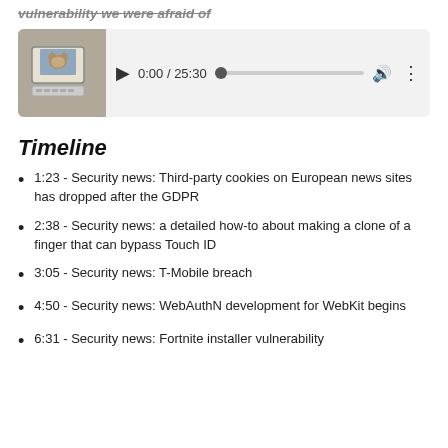vulnerability we were afraid of
[Figure (screenshot): Audio/video media player with thumbnail image of a cat at a computer, play button, time display 0:00 / 25:30, progress bar, volume icon, and more options icon]
Timeline
1:23 - Security news: Third-party cookies on European news sites has dropped after the GDPR
2:38 - Security news: a detailed how-to about making a clone of a finger that can bypass Touch ID
3:05 - Security news: T-Mobile breach
4:50 - Security news: WebAuthN development for WebKit begins
6:31 - Security news: Fortnite installer vulnerability